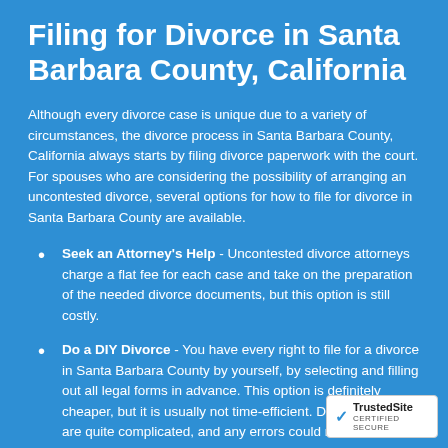Filing for Divorce in Santa Barbara County, California
Although every divorce case is unique due to a variety of circumstances, the divorce process in Santa Barbara County, California always starts by filing divorce paperwork with the court. For spouses who are considering the possibility of arranging an uncontested divorce, several options for how to file for divorce in Santa Barbara County are available.
Seek an Attorney's Help - Uncontested divorce attorneys charge a flat fee for each case and take on the preparation of the needed divorce documents, but this option is still costly.
Do a DIY Divorce - You have every right to file for a divorce in Santa Barbara County by yourself, by selecting and filling out all legal forms in advance. This option is definitely cheaper, but it is usually not time-efficient. Divorce forms are quite complicated, and any errors could result in whole process over again.
[Figure (logo): TrustedSite Certified Secure badge]